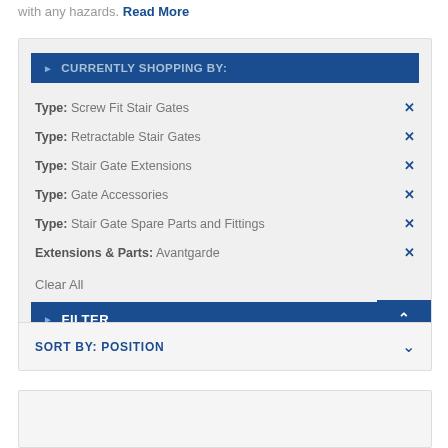with any hazards. Read More
CURRENTLY SHOPPING BY:
Type: Screw Fit Stair Gates
Type: Retractable Stair Gates
Type: Stair Gate Extensions
Type: Gate Accessories
Type: Stair Gate Spare Parts and Fittings
Extensions & Parts: Avantgarde
Clear All
FILTER
SORT BY: POSITION